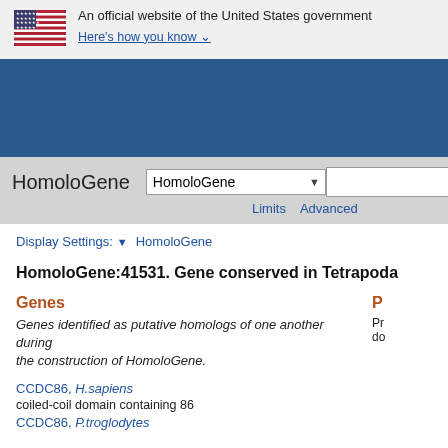An official website of the United States government. Here's how you know
HomoloGene
Display Settings: HomoloGene
HomoloGene:41531. Gene conserved in Tetrapoda
Genes
Genes identified as putative homologs of one another during the construction of HomoloGene.
CCDC86, H.sapiens
coiled-coil domain containing 86
CCDC86, P.troglodytes
coiled-coil domain containing 86